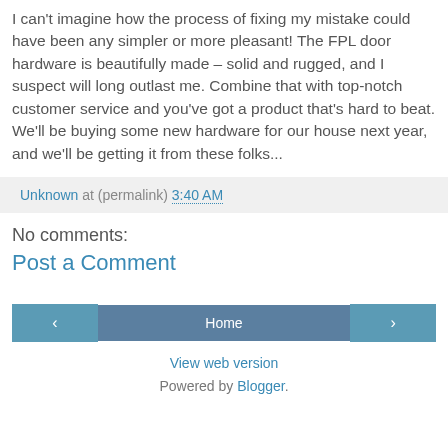I can't imagine how the process of fixing my mistake could have been any simpler or more pleasant!  The FPL door hardware is beautifully made – solid and rugged, and I suspect will long outlast me.  Combine that with top-notch customer service and you've got a product that's hard to beat.  We'll be buying some new hardware for our house next year, and we'll be getting it from these folks...
Unknown at (permalink) 3:40 AM
No comments:
Post a Comment
‹ Home › View web version Powered by Blogger.